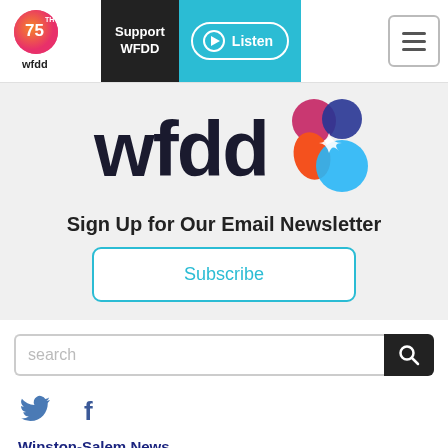[Figure (logo): WFDD 75th anniversary logo with colorful design]
[Figure (logo): Support WFDD navigation button (dark background)]
[Figure (logo): Listen button (cyan/blue with play icon)]
[Figure (logo): Hamburger menu icon]
[Figure (logo): WFDD large logo with colorful bubbles graphic]
Sign Up for Our Email Newsletter
Subscribe
search
[Figure (illustration): Twitter bird icon]
[Figure (illustration): Facebook f icon]
Winston-Salem News
Greensboro News